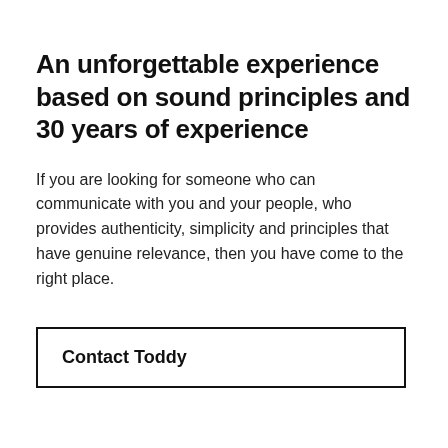An unforgettable experience based on sound principles and 30 years of experience
If you are looking for someone who can communicate with you and your people, who provides authenticity, simplicity and principles that have genuine relevance, then you have come to the right place.
Contact Toddy